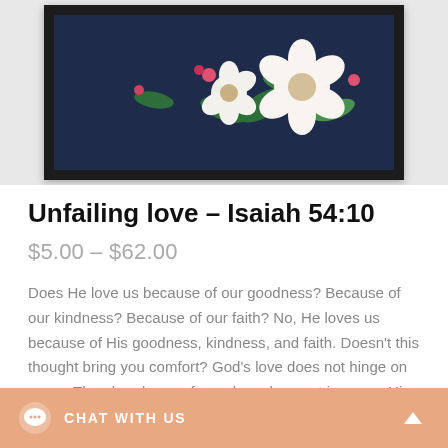[Figure (photo): Product photo showing a framed art print with a dark navy floral background featuring white and pink flowers with green leaves, displayed in a black frame, shown from a slightly cropped top view on a light gray background.]
Unfailing love – Isaiah 54:10
$5.00 – $62.00
Does He love us because of our goodness? Because of our kindness? Because of our faith? No, He loves us because of His goodness, kindness, and faith. Doesn't this thought bring you comfort? God's love does not hinge on yours. The abundance of your love does not increase His. The lack of your love does not diminish His. Your goodness does not enhance his love, nor does your weakness dilute it. Let this print remind you if His unfailing love.
CHAT WITH US